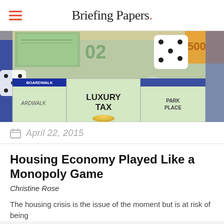Briefing Papers.
[Figure (photo): Close-up photograph of a Monopoly board game showing the Boardwalk, Luxury Tax, and Park Place squares, with a metal car token, a white die with black dots, and game money visible on the colorful board.]
April 22, 2015
Housing Economy Played Like a Monopoly Game
Christine Rose
The housing crisis is the issue of the moment but is at risk of being